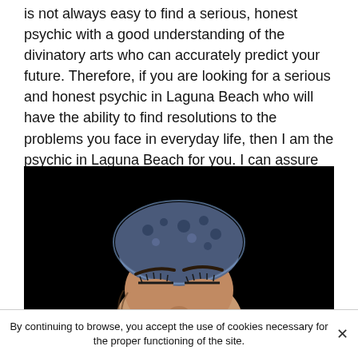is not always easy to find a serious, honest psychic with a good understanding of the divinatory arts who can accurately predict your future. Therefore, if you are looking for a serious and honest psychic in Laguna Beach who will have the ability to find resolutions to the problems you face in everyday life, then I am the psychic in Laguna Beach for you. I can assure you of excellent results, no matter what situation you find yourself in.
[Figure (photo): A person with eyes closed wearing a leopard-print head wrap, photographed from below against a black background. Only the face (eyes, nose) and head covering are visible.]
By continuing to browse, you accept the use of cookies necessary for the proper functioning of the site.